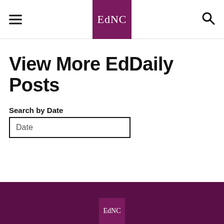EdNC
View More EdDaily Posts
Search by Date
Date
EdNC